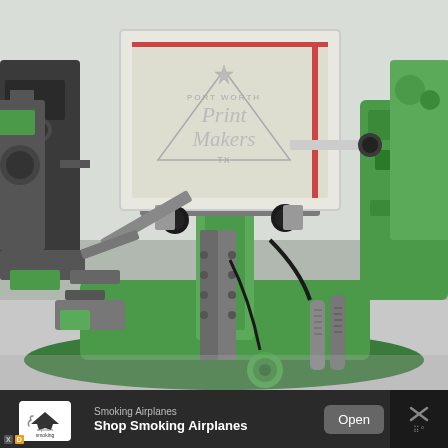[Figure (photo): Photo of a screen printing machine in an industrial workshop. A green and silver automatic screen printing press is shown with a silk screen frame raised up displaying a 'Fort Worth Print Makers TX' logo design. The machine has black knobs and metal clamps. Other printing equipment is visible in the background on a light gray floor.]
[Figure (other): Mobile advertisement banner at the bottom of the screen. Shows 'Smoking Airplanes' app ad with logo, text 'Shop Smoking Airplanes', an 'Open' button, and a close (X) button.]